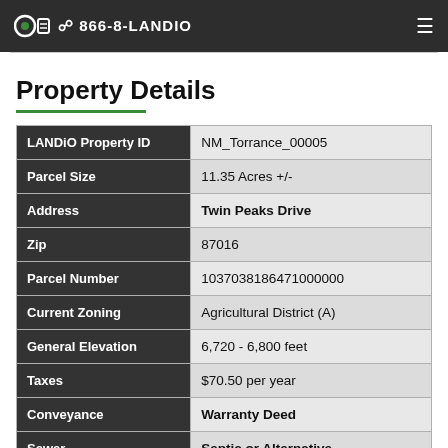866-8-LANDIO
Property Details
| Field | Value |
| --- | --- |
| LANDiO Property ID | NM_Torrance_00005 |
| Parcel Size | 11.35 Acres +/- |
| Address | Twin Peaks Drive |
| Zip | 87016 |
| Parcel Number | 1037038186471000000 |
| Current Zoning | Agricultural District (A) |
| General Elevation | 6,720 - 6,800 feet |
| Taxes | $70.50 per year |
| Conveyance | Warranty Deed |
| Sewer | Septic or Alternative |